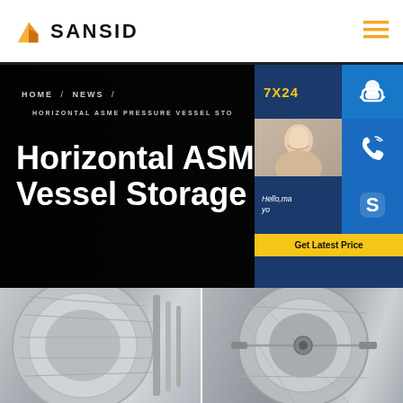[Figure (logo): SANSID company logo with orange/yellow building icon and bold text SANSID]
HOME / NEWS / HORIZONTAL ASME PRESSURE VESSEL STO
Horizontal ASME Pressure Vessel Storage Tank
[Figure (photo): Customer support agent photo with 7X24 badge and contact icons (headset, phone, Skype). Get Latest Price button and Hello chat message visible.]
[Figure (photo): Two industrial storage tank photos side by side showing horizontal ASME pressure vessel tanks]